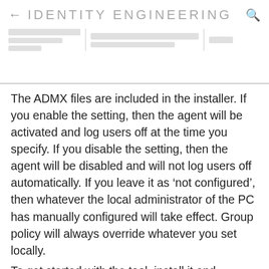IDENTITY ENGINEERING
The ADMX files are included in the installer. If you enable the setting, then the agent will be activated and log users off at the time you specify. If you disable the setting, then the agent will be disabled and will not log users off automatically. If you leave it as ‘not configured’, then whatever the local administrator of the PC has manually configured will take effect. Group policy will always override whatever you set locally.
To get started with the tool, install it and navigate to %ProgramFiles%\Lithnet\Lithnet.IdleLogoff, and run lithnet.idlelogoff.exe. This will launch the GUI to allow you to enable the agent, and configure the idle timeout. Alternatively, if you are configuring via group policy, then no further action is needed. Log off the workstation, and the next user to login will be subject to your idle logoff policy.
That’s it! No screen savers, message boxes, countdowns, beeps or other annoyances. Unobtrusive, simple, and centrally